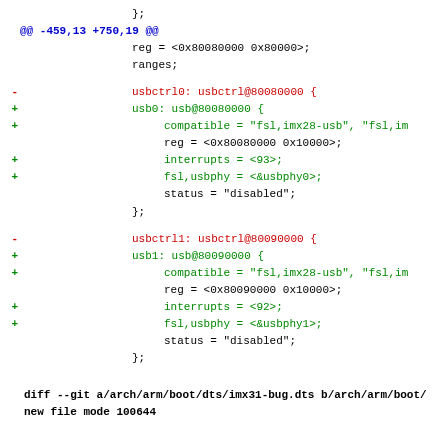diff --git code snippet showing changes to imx28.dtsi and imx31-bug.dts files with USB controller node renaming
@@ -459,13 +750,19 @@
  };
  reg = <0x80080000 0x80000>;
  ranges;
  - usbctrl0: usbctrl@80080000 {
  + usb0: usb@80080000 {
  + compatible = "fsl,imx28-usb", "fsl,im
    reg = <0x80080000 0x10000>;
  + interrupts = <93>;
  + fsl,usbphy = <&usbphy0>;
    status = "disabled";
  };
  - usbctrl1: usbctrl@80090000 {
  + usb1: usb@80090000 {
  + compatible = "fsl,imx28-usb", "fsl,im
    reg = <0x80090000 0x10000>;
  + interrupts = <92>;
  + fsl,usbphy = <&usbphy1>;
    status = "disabled";
  };
  diff --git a/arch/arm/boot/dts/imx31-bug.dts b/arch/arm/boot/
new file mode 100644